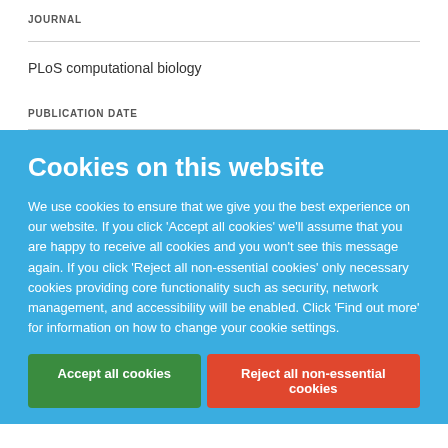JOURNAL
PLoS computational biology
PUBLICATION DATE
Cookies on this website
We use cookies to ensure that we give you the best experience on our website. If you click 'Accept all cookies' we'll assume that you are happy to receive all cookies and you won't see this message again. If you click 'Reject all non-essential cookies' only necessary cookies providing core functionality such as security, network management, and accessibility will be enabled. Click 'Find out more' for information on how to change your cookie settings.
Accept all cookies
Reject all non-essential cookies